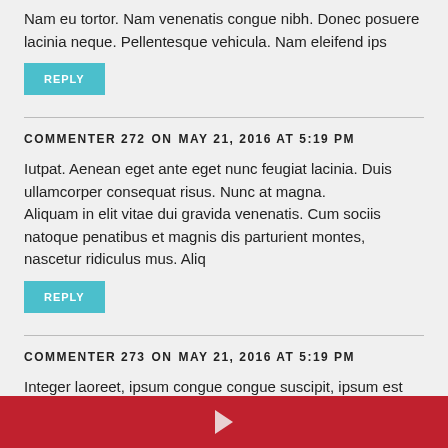Nam eu tortor. Nam venenatis congue nibh. Donec posuere lacinia neque. Pellentesque vehicula. Nam eleifend ips
REPLY
COMMENTER 272   ON   MAY 21, 2016 AT 5:19 PM
Iutpat. Aenean eget ante eget nunc feugiat lacinia. Duis ullamcorper consequat risus. Nunc at magna.
Aliquam in elit vitae dui gravida venenatis. Cum sociis natoque penatibus et magnis dis parturient montes, nascetur ridiculus mus. Aliq
REPLY
COMMENTER 273   ON   MAY 21, 2016 AT 5:19 PM
Integer laoreet, ipsum congue congue suscipit, ipsum est molestie